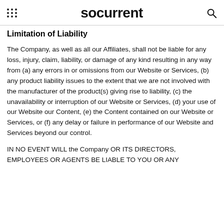socurrent
Limitation of Liability
The Company, as well as all our Affiliates, shall not be liable for any loss, injury, claim, liability, or damage of any kind resulting in any way from (a) any errors in or omissions from our Website or Services, (b) any product liability issues to the extent that we are not involved with the manufacturer of the product(s) giving rise to liability, (c) the unavailability or interruption of our Website or Services, (d) your use of our Website our Content, (e) the Content contained on our Website or Services, or (f) any delay or failure in performance of our Website and Services beyond our control.
IN NO EVENT WILL the Company OR ITS DIRECTORS, EMPLOYEES OR AGENTS BE LIABLE TO YOU OR ANY